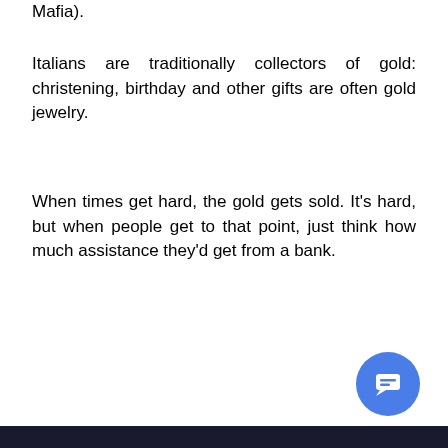Mafia).
Italians are traditionally collectors of gold: christening, birthday and other gifts are often gold jewelry.
When times get hard, the gold gets sold. It’s hard, but when people get to that point, just think how much assistance they’d get from a bank.